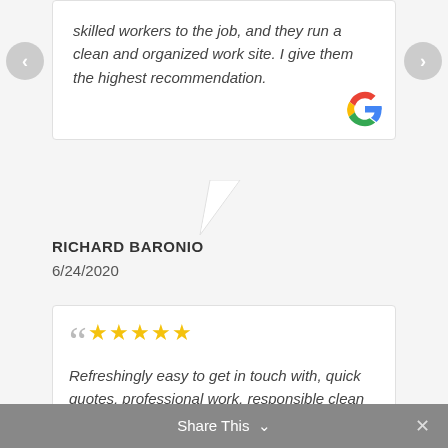skilled workers to the job, and they run a clean and organized work site. I give them the highest recommendation.
RICHARD BARONIO
6/24/2020
Refreshingly easy to get in touch with, quick quotes, professional work, responsible clean up and reasonably priced. Very pleased - used NYC Stone Care 5 times in last 6 months.
Share This